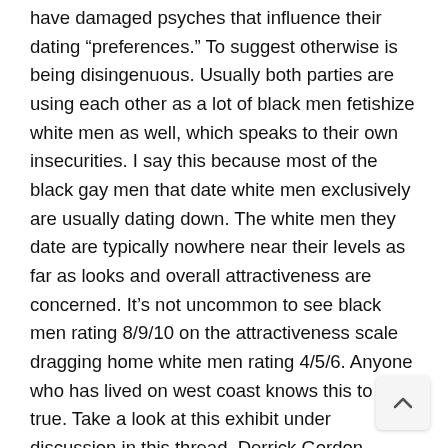have damaged psyches that influence their dating “preferences.” To suggest otherwise is being disingenuous. Usually both parties are using each other as a lot of black men fetishize white men as well, which speaks to their own insecurities. I say this because most of the black gay men that date white men exclusively are usually dating down. The white men they date are typically nowhere near their levels as far as looks and overall attractiveness are concerned. It’s not uncommon to see black men rating 8/9/10 on the attractiveness scale dragging home white men rating 4/5/6. Anyone who has lived on west coast knows this to b true. Take a look at this exhibit under discussion in this thread. Derrick Gordon